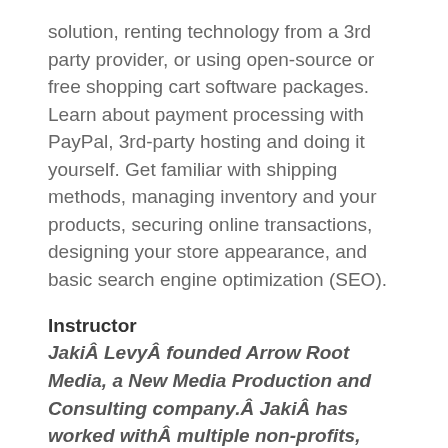solution, renting technology from a 3rd party provider, or using open-source or free shopping cart software packages. Learn about payment processing with PayPal, 3rd-party hosting and doing it yourself. Get familiar with shipping methods, managing inventory and your products, securing online transactions, designing your store appearance, and basic search engine optimization (SEO).
Instructor
JakiÂ LevyÂ founded Arrow Root Media, a New Media Production and Consulting company.Â JakiÂ has worked withÂ multiple non-profits, including:Â Issue Project Room,Â The Field,Â Dance/USA,Â Rockaway Waterfront Alliance,Â Queens Council on the